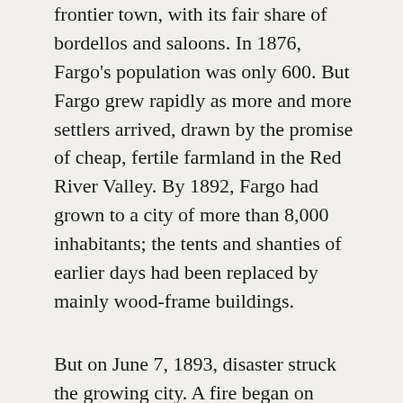frontier town, with its fair share of bordellos and saloons. In 1876, Fargo's population was only 600. But Fargo grew rapidly as more and more settlers arrived, drawn by the promise of cheap, fertile farmland in the Red River Valley. By 1892, Fargo had grown to a city of more than 8,000 inhabitants; the tents and shanties of earlier days had been replaced by mainly wood-frame buildings.
But on June 7, 1893, disaster struck the growing city. A fire began on Front Street (now called Main Avenue). Fanned by strong winds from the south, the fire consumed most of the downtown area. By the time it was over, more than 31 blocks were reduced to piles of rubble. Although the fire must have been a stunning